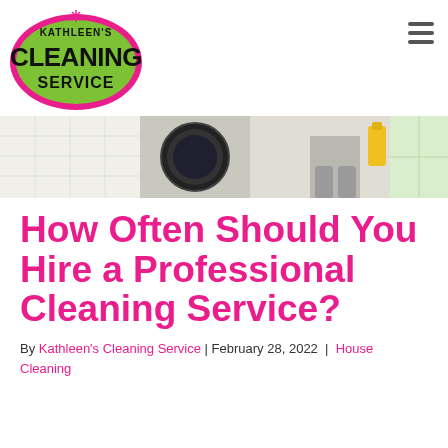[Figure (logo): Kathleen's Cleaning Service logo — green oval with pink border, black bold text CLEANING SERVICE, smaller text Kathleen's above]
[Figure (photo): Hero photo showing person in grey socks cleaning near a washing machine with yellow spray bottle, laundry room setting]
How Often Should You Hire a Professional Cleaning Service?
By Kathleen's Cleaning Service | February 28, 2022 | House Cleaning